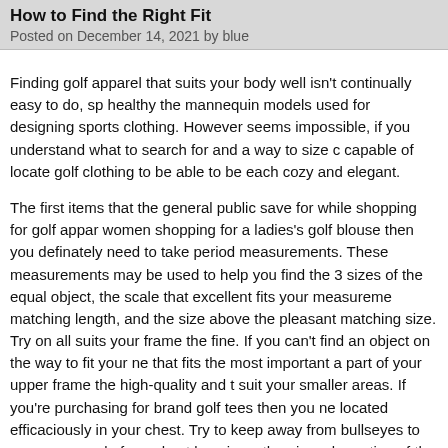How to Find the Right Fit
Posted on December 14, 2021 by blue
Finding golf apparel that suits your body well isn't continually easy to do, sp healthy the mannequin models used for designing sports clothing. However seems impossible, if you understand what to search for and a way to size c capable of locate golf clothing to be able to be each cozy and elegant.
The first items that the general public save for while shopping for golf appar women shopping for a ladies's golf blouse then you definately need to take period measurements. These measurements may be used to help you find the 3 sizes of the equal object, the scale that excellent fits your measureme matching length, and the size above the pleasant matching size. Try on all suits your frame the fine. If you can't find an object on the way to fit your ne that fits the most important a part of your upper frame the high-quality and t suit your smaller areas. If you're purchasing for brand golf tees then you ne located efficaciously in your chest. Try to keep away from bullseyes to your proper role for a chest logo is on the pinnacle portion of the breast or barely
Men who are searching for golf shirts ought to take their chest measuremen period. When they're attempting on shirts they want to make sure that the b to stretch and pass around. While making sure that your golf shirt is not to